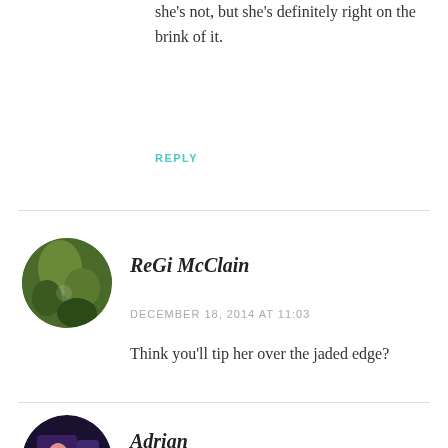she's not, but she's definitely right on the brink of it.
REPLY
[Figure (photo): Circular avatar photo of ReGi McClain showing green forest/trees background]
ReGi McClain
DECEMBER 18, 2014 AT 11:03
Think you'll tip her over the jaded edge?
[Figure (photo): Circular avatar photo of Adrian showing a person in pink]
Adrian